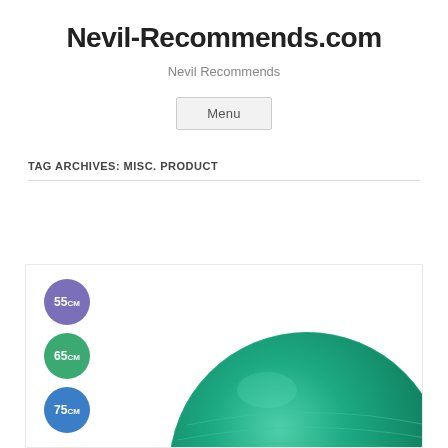Nevil-Recommends.com
Nevil Recommends
Menu
TAG ARCHIVES: MISC. PRODUCT
[Figure (photo): Product image showing an exercise/yoga ball in teal/green color with three size badge circles on the left: 55CM (purple), 65CM (green), 75CM (blue)]